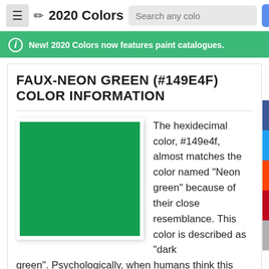2020 Colors
New! 2020 Colors now features paint catalogues.
FAUX-NEON GREEN (#149E4F) COLOR INFORMATION
[Figure (illustration): A green color swatch box showing hex color #149e4f (Faux-Neon Green / Neon green)]
The hexidecimal color, #149e4f, almost matches the color named "Neon green" because of their close resemblance. This color is described as "dark green". Psychologically, when humans think this color, Neon green (#149e4f), in designs the following may come to mind: an alleviation to depression, money and